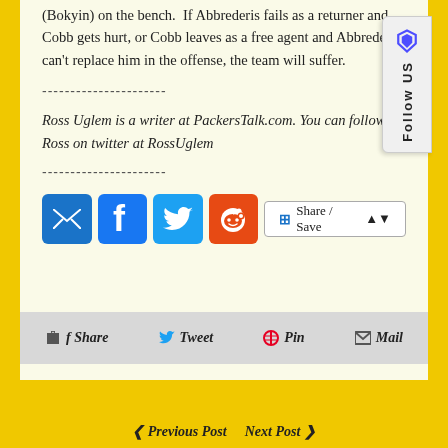(Bokyin) on the bench.  If Abbrederis fails as a returner and Cobb gets hurt, or Cobb leaves as a free agent and Abbrederis can't replace him in the offense, the team will suffer.
----------------------
Ross Uglem is a writer at PackersTalk.com. You can follow Ross on twitter at RossUglem
----------------------
[Figure (infographic): Social sharing buttons: email (blue), Facebook (blue), Twitter (light blue), Reddit (orange-red), and a Share/Save dropdown button]
f Share   Tweet   Pin   Mail
Previous Post   Next Post